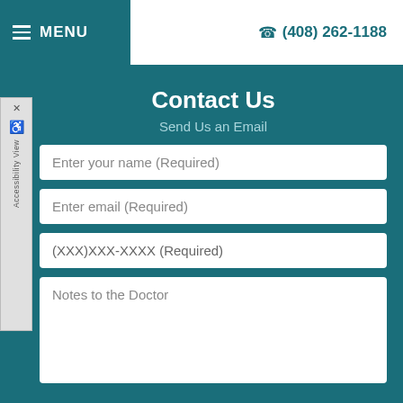MENU | (408) 262-1188
Contact Us
Send Us an Email
Enter your name (Required)
Enter email (Required)
(XXX)XXX-XXXX (Required)
Notes to the Doctor
Accessibility View